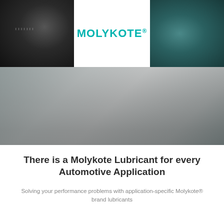[Figure (photo): Dark automotive machinery/component photo on the left side]
[Figure (logo): MOLYKOTE® brand logo in teal/turquoise color on white background]
[Figure (photo): Teal/dark automotive surface or component photo on the right side]
[Figure (photo): Large panoramic gray gradient image spanning full width below the top row]
There is a Molykote Lubricant for every Automotive Application
Solving your performance problems with application-specific Molykote® brand lubricants